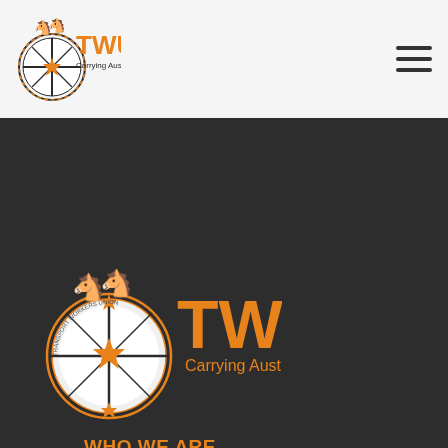[Figure (logo): TWU Transport Workers Union logo - small version in header bar with horses, compass emblem and orange TWU text with 'Carrying Australia' tagline]
[Figure (logo): Hamburger menu icon - three horizontal dark lines]
[Figure (logo): TWU Transport Workers Union large logo - horses, compass emblem in orange and white with large orange TWU text and 'Carrying Australia' tagline on dark background]
WHO WE ARE
Leadership
Contact
WHAT WE'RE DOING
Safe Rates